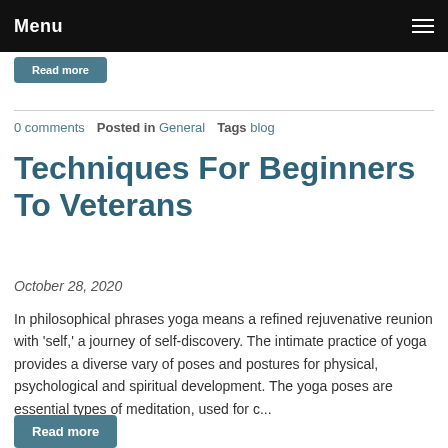Menu
0 comments   Posted in General   Tags blog
Techniques For Beginners To Veterans
October 28, 2020
In philosophical phrases yoga means a refined rejuvenative reunion with 'self,' a journey of self-discovery. The intimate practice of yoga provides a diverse vary of poses and postures for physical, psychological and spiritual development. The yoga poses are essential types of meditation, used for c...
Read more